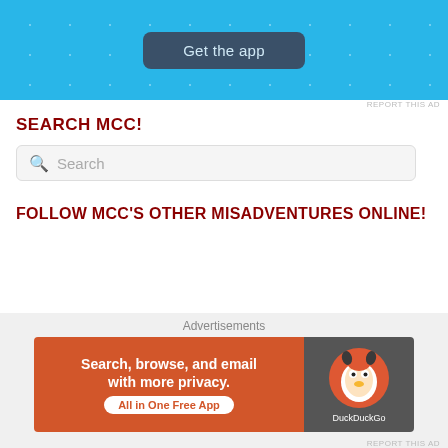[Figure (screenshot): Top blue advertisement banner with 'Get the app' button and decorative plus/star patterns]
REPORT THIS AD
SEARCH MCC!
[Figure (screenshot): Search input box with magnifying glass icon and placeholder text 'Search']
FOLLOW MCC'S OTHER MISADVENTURES ONLINE!
HANDY EMAIL ALERTS!
Click here to receive alerts whenever new content appears like magic!
[Figure (screenshot): Email input field with placeholder 'Enter your email address']
Advertisements
[Figure (screenshot): DuckDuckGo advertisement banner: 'Search, browse, and email with more privacy. All in One Free App' with DuckDuckGo logo on dark background]